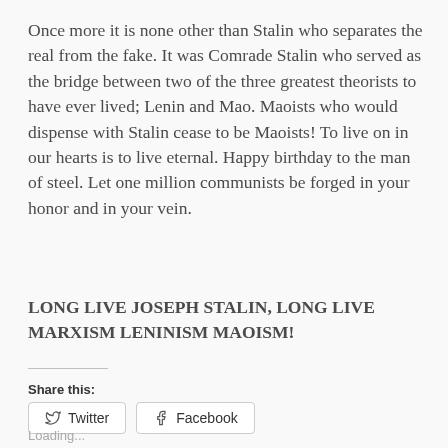Once more it is none other than Stalin who separates the real from the fake. It was Comrade Stalin who served as the bridge between two of the three greatest theorists to have ever lived; Lenin and Mao. Maoists who would dispense with Stalin cease to be Maoists! To live on in our hearts is to live eternal. Happy birthday to the man of steel. Let one million communists be forged in your honor and in your vein.
LONG LIVE JOSEPH STALIN, LONG LIVE MARXISM LENINISM MAOISM!
Share this:
Twitter
Facebook
Loading...